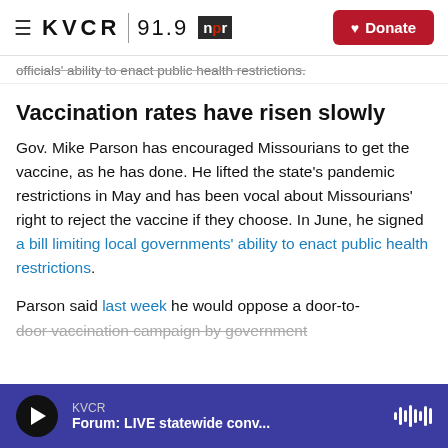KVCR 91.9 NPR — Donate
officials' ability to enact public health restrictions.
Vaccination rates have risen slowly
Gov. Mike Parson has encouraged Missourians to get the vaccine, as he has done. He lifted the state's pandemic restrictions in May and has been vocal about Missourians' right to reject the vaccine if they choose. In June, he signed a bill limiting local governments' ability to enact public health restrictions.
Parson said last week he would oppose a door-to-door vaccination campaign by government
KVCR — Forum: LIVE statewide conv...